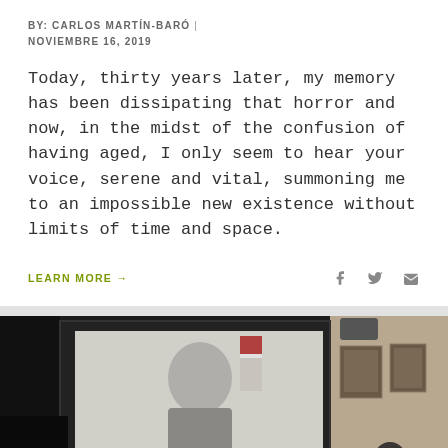BY: CARLOS MARTÍN-BARÓ | NOVIEMBRE 16, 2019
Today, thirty years later, my memory has been dissipating that horror and now, in the midst of the confusion of having aged, I only seem to hear your voice, serene and vital, summoning me to an impossible new existence without limits of time and space.
LEARN MORE →
[Figure (photo): A projection screen showing a video of an elderly man in a suit with an American flag visible, in what appears to be a formal meeting room or hall with framed portraits on the wall and an audience member visible.]